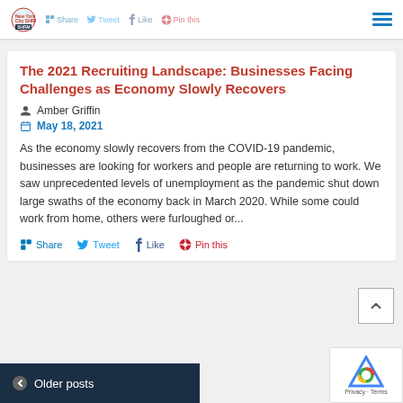New York City SHRM | Share, Tweet, Like, Pin this
The 2021 Recruiting Landscape: Businesses Facing Challenges as Economy Slowly Recovers
Amber Griffin
May 18, 2021
As the economy slowly recovers from the COVID-19 pandemic, businesses are looking for workers and people are returning to work. We saw unprecedented levels of unemployment as the pandemic shut down large swaths of the economy back in March 2020. While some could work from home, others were furloughed or...
Share  Tweet  Like  Pin this
Older posts